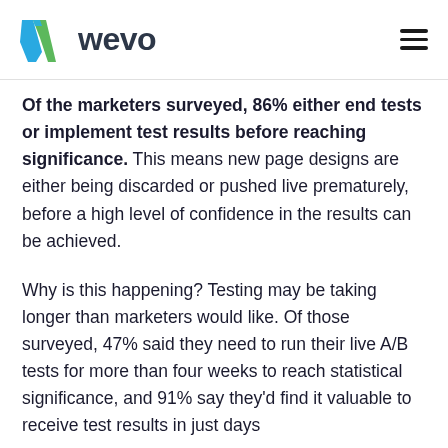[Figure (logo): Wevo logo with blue and green W icon and 'wevo' text in dark gray]
Of the marketers surveyed, 86% either end tests or implement test results before reaching significance. This means new page designs are either being discarded or pushed live prematurely, before a high level of confidence in the results can be achieved.
Why is this happening? Testing may be taking longer than marketers would like. Of those surveyed, 47% said they need to run their live A/B tests for more than four weeks to reach statistical significance, and 91% say they'd find it valuable to receive test results in just days